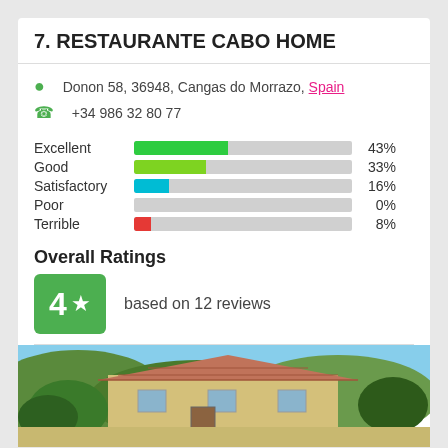7. RESTAURANTE CABO HOME
Donon 58, 36948, Cangas do Morrazo, Spain
+34 986 32 80 77
[Figure (bar-chart): Rating distribution]
Overall Ratings
4 ★  based on 12 reviews
[Figure (photo): Exterior view of Restaurante Cabo Home building with tiled roof and surrounding vegetation]